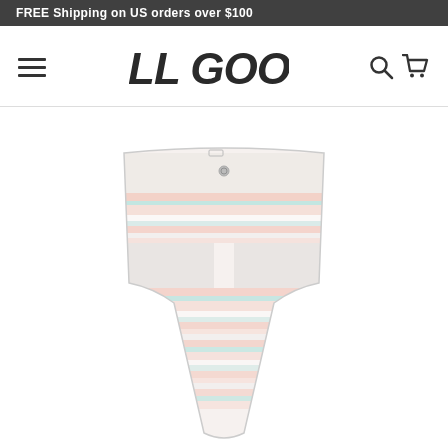FREE Shipping on US orders over $100
[Figure (logo): ALL GOOD brand logo in bold italic blocky font]
[Figure (photo): Product photo of pastel striped board shorts/hybrid shorts with Aztec patterned panel, light pink, light blue, and white horizontal stripes, on white background]